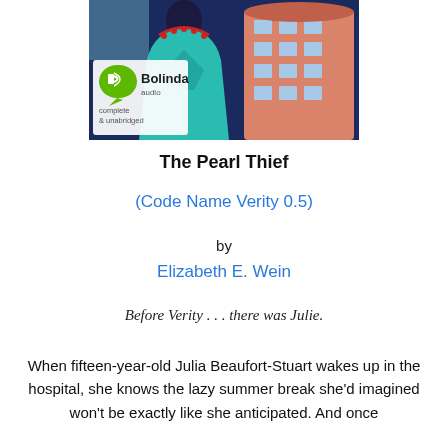[Figure (illustration): Book cover for The Pearl Thief audiobook by Bolinda audio. Illustrated cover showing a woman with dark hair in a teal/turquoise outfit, with a European-style pink building in the background and a decorative red necklace motif. Bolinda audio logo with speech bubble icon, labeled 'complete & unabridged'.]
The Pearl Thief
(Code Name Verity 0.5)
by
Elizabeth E. Wein
Before Verity . . . there was Julie.
When fifteen-year-old Julia Beaufort-Stuart wakes up in the hospital, she knows the lazy summer break she'd imagined won't be exactly like she anticipated. And once